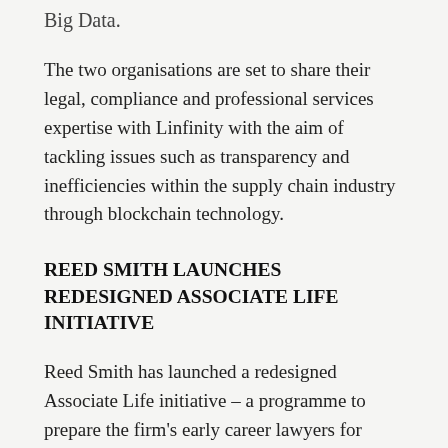Big Data.
The two organisations are set to share their legal, compliance and professional services expertise with Linfinity with the aim of tackling issues such as transparency and inefficiencies within the supply chain industry through blockchain technology.
REED SMITH LAUNCHES REDESIGNED ASSOCIATE LIFE INITIATIVE
Reed Smith has launched a redesigned Associate Life initiative – a programme to prepare the firm's early career lawyers for advancement, leadership roles, and long-term professional success. Among new features are a mobile app for ongoing performance feedback from more senior lawyers; an enhanced billable-hours